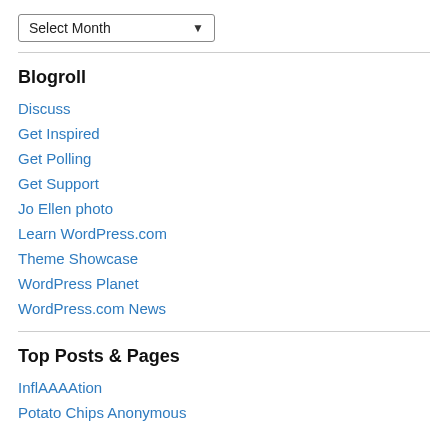[Figure (screenshot): Dropdown select box labeled 'Select Month' with a down arrow]
Blogroll
Discuss
Get Inspired
Get Polling
Get Support
Jo Ellen photo
Learn WordPress.com
Theme Showcase
WordPress Planet
WordPress.com News
Top Posts & Pages
InflAAAAtion
Potato Chips Anonymous